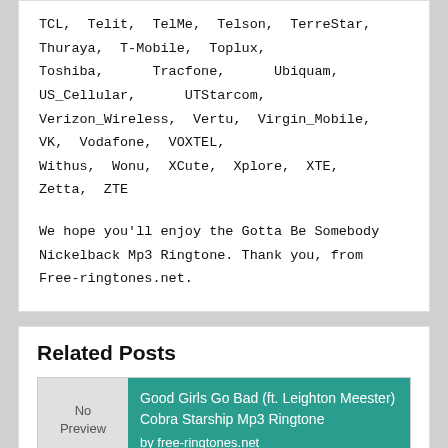TCL, Telit, TelMe, Telson, TerreStar, Thuraya, T-Mobile, Toplux, Toshiba, Tracfone, Ubiquam, US_Cellular, UTStarcom, Verizon_Wireless, Vertu, Virgin_Mobile, VK, Vodafone, VOXTEL, Withus, Wonu, XCute, Xplore, XTE, Zetta, ZTE
We hope you'll enjoy the Gotta Be Somebody Nickelback Mp3 Ringtone. Thank you, from Free-ringtones.net.
Related Posts
Good Girls Go Bad (ft. Leighton Meester) Cobra Starship Mp3 Ringtone
by free-ringtones.net
Girls Just Wanna Have Fun Miley Cyrus Ringtone
by free-ringtones.net